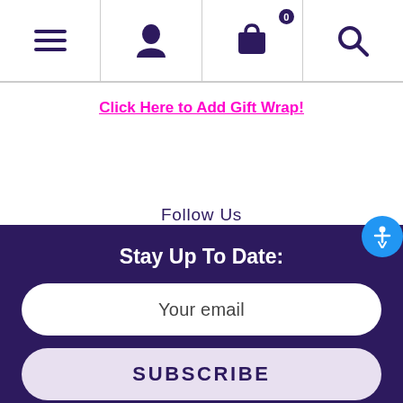[Figure (screenshot): Navigation bar with hamburger menu, user profile icon, shopping basket with badge, and search icon]
Click Here to Add Gift Wrap!
Follow Us
Stay Up To Date:
Your email
SUBSCRIBE